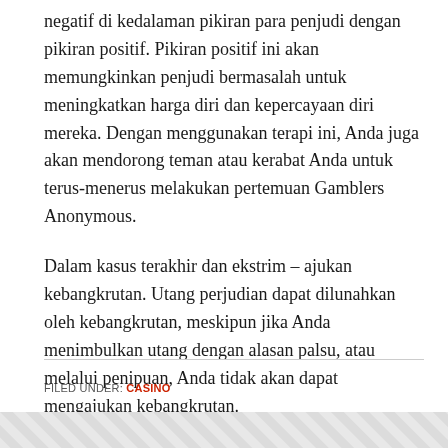negatif di kedalaman pikiran para penjudi dengan pikiran positif. Pikiran positif ini akan memungkinkan penjudi bermasalah untuk meningkatkan harga diri dan kepercayaan diri mereka. Dengan menggunakan terapi ini, Anda juga akan mendorong teman atau kerabat Anda untuk terus-menerus melakukan pertemuan Gamblers Anonymous.
Dalam kasus terakhir dan ekstrim – ajukan kebangkrutan. Utang perjudian dapat dilunahkan oleh kebangkrutan, meskipun jika Anda menimbulkan utang dengan alasan palsu, atau melalui penipuan, Anda tidak akan dapat mengajukan kebangkrutan.
FILED UNDER: CASINO